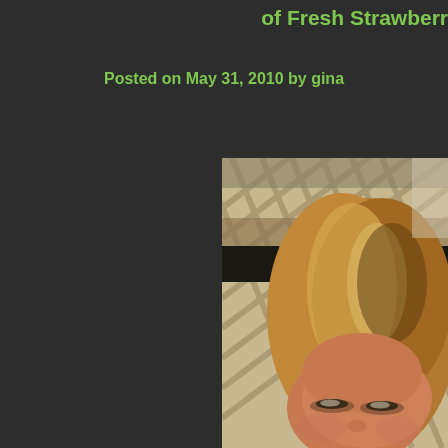of Fresh Strawberr
Posted on May 31, 2010 by gina
[Figure (photo): Partial view of a woman with blonde/highlighted hair, visible from the top of the head to just below the eyes, with a lattice/wicker background and a dark shelf or bar behind her head. Photo is cropped and shows the right side of her face more prominently.]